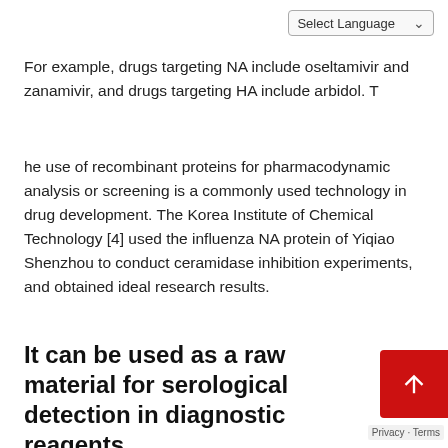Select Language
For example, drugs targeting NA include oseltamivir and zanamivir, and drugs targeting HA include arbidol. T
he use of recombinant proteins for pharmacodynamic analysis or screening is a commonly used technology in drug development. The Korea Institute of Chemical Technology [4] used the influenza NA protein of Yiqiao Shenzhou to conduct ceramidase inhibition experiments, and obtained ideal research results.
It can be used as a raw material for serological detection in diagnostic reagents